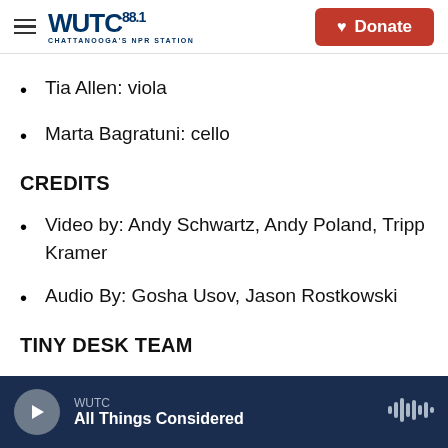WUTC 88.1 Chattanooga's NPR Station | Donate
Tia Allen: viola
Marta Bagratuni: cello
CREDITS
Video by: Andy Schwartz, Andy Poland, Tripp Kramer
Audio By: Gosha Usov, Jason Rostkowski
TINY DESK TEAM
WUTC — All Things Considered